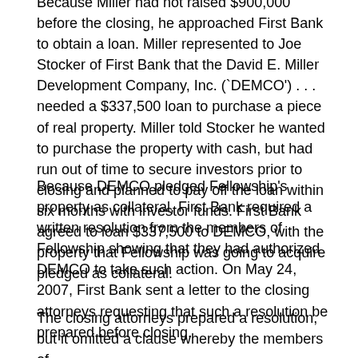Because Miller had not raised $900,000 before the closing, he approached First Bank to obtain a loan. Miller represented to Joe Stocker of First Bank that the David E. Miller Development Company, Inc. (`DEMCO') . . . needed a $337,500 loan to purchase a piece of real property. Miller told Stocker he wanted to purchase the property with cash, but had run out of time to secure investors prior to closing and planned to pay off the loan within six months with investor funds. First Bank agreed to loan $337,500 to DEMCO, with the property that Fellowship was going to acquire pledged as collateral.
Because DEMCO pledged Fellowship's property as collateral, First Bank required a written resolution from the members of Fellowship showing that they had authorized DEMCO to take such action. On May 24, 2007, First Bank sent a letter to the closing attorneys requesting that such a resolution be prepared before closing.
The closing attorneys prepared a resolution, but it omitted a clause whereby the members of